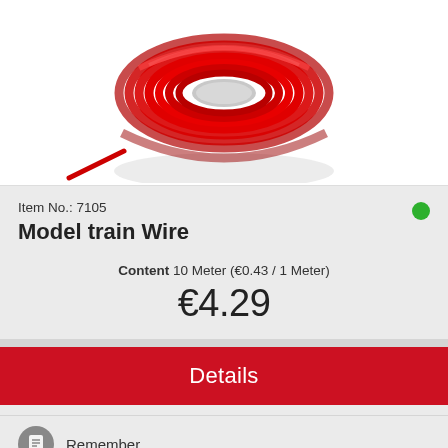[Figure (photo): Red coiled model train wire on white background]
Item No.: 7105
Model train Wire
Content 10 Meter (€0.43 / 1 Meter)
€4.29
Details
Remember